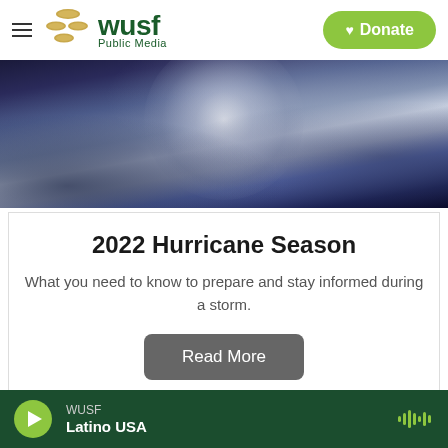WUSF Public Media — Donate
[Figure (photo): Aerial satellite view of a hurricane with swirling clouds and bright eye visible from above]
2022 Hurricane Season
What you need to know to prepare and stay informed during a storm.
Read More
[Figure (screenshot): Partial view of a teal/cyan colored banner at the bottom of the page]
WUSF Latino USA